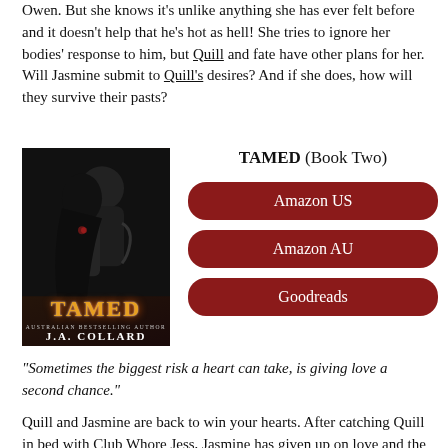Owen. But she knows it's unlike anything she has ever felt before and it doesn't help that he's hot as hell! She tries to ignore her bodies' response to him, but Quill and fate have other plans for her. Will Jasmine submit to Quill's desires? And if she does, how will they survive their pasts?
[Figure (illustration): Book cover for TAMED by J.A. Collard showing a man and woman in an intimate embrace against a dark background, with the word TAMED in fiery orange/yellow letters at the bottom and 'Australian Bestselling Author J.A. COLLARD' below]
TAMED (Book Two)
Amazon US
Amazon AU
Goodreads
"Sometimes the biggest risk a heart can take, is giving love a second chance."
Quill and Jasmine are back to win your hearts. After catching Quill in bed with Club Whore Jess, Jasmine has given up on love and the idea